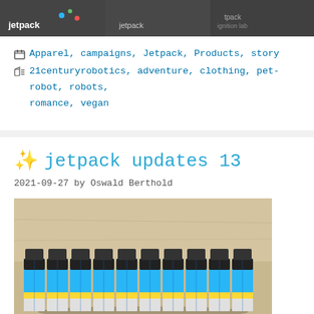[Figure (photo): Photo strip showing people wearing jetpack branded dark t-shirts, with jetpack and ignition lab logos visible]
Apparel, campaigns, Jetpack, Products, story
21centuryrobotics, adventure, clothing, pet-robot, robots, romance, vegan
✨ jetpack updates 13
2021-09-27 by Oswald Berthold
[Figure (photo): Photo of a row of approximately 10 blue battery cells with black tops and yellow stripe, lined up on a wooden surface]